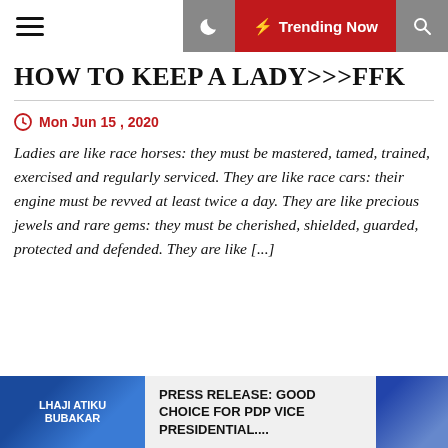HOW TO KEEP A LADY>>>FFK
HOW TO KEEP A LADY>>>FFK
Mon Jun 15 , 2020
Ladies are like race horses: they must be mastered, tamed, trained, exercised and regularly serviced. They are like race cars: their engine must be revved at least twice a day. They are like precious jewels and rare gems: they must be cherished, shielded, guarded, protected and defended. They are like [...]
PRESS RELEASE: GOOD CHOICE FOR PDP VICE PRESIDENTIAL....